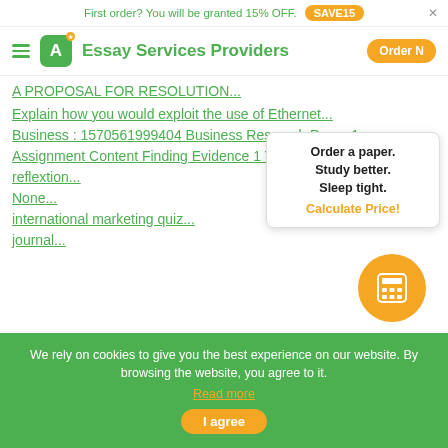First order? You will be granted 15% OFF. SAVE15
Essay Services Providers
A PROPOSAL FOR RESOLUTION...
Explain how you would exploit the use of Ethernet...
Business : 1570561999404 Business Research Paper 1...
Assignment Content Finding Evidence 1 Top of Form...
reflextion...
None...
international marketing quiz...
journal...
Order a paper. Study better. Sleep tight. Calculate Price!
We rely on cookies to give you the best experience on our website. By browsing the website, you agree to it. Read more
I agree